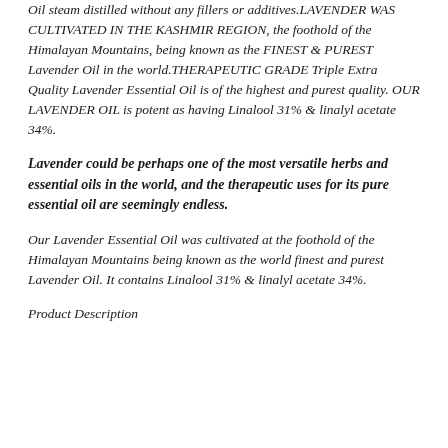Oil steam distilled without any fillers or additives.LAVENDER WAS CULTIVATED IN THE KASHMIR REGION, the foothold of the Himalayan Mountains, being known as the FINEST & PUREST Lavender Oil in the world.THERAPEUTIC GRADE Triple Extra Quality Lavender Essential Oil is of the highest and purest quality. OUR LAVENDER OIL is potent as having Linalool 31% & linalyl acetate 34%.
Lavender could be perhaps one of the most versatile herbs and essential oils in the world, and the therapeutic uses for its pure essential oil are seemingly endless.
Our Lavender Essential Oil was cultivated at the foothold of the Himalayan Mountains being known as the world finest and purest Lavender Oil. It contains Linalool 31% & linalyl acetate 34%.
Product Description